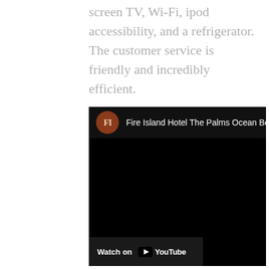screen TV, Wi-Fi, ipod accessibility, and a refrigerator. The customer service is friendly and incredibly efficient.
[Figure (screenshot): YouTube video embed showing Fire Island Hotel The Palms Ocean Beach, with a dark/black video frame, channel icon (FI logo in brown circle), title text, and a 'Watch on YouTube' button at the bottom left.]